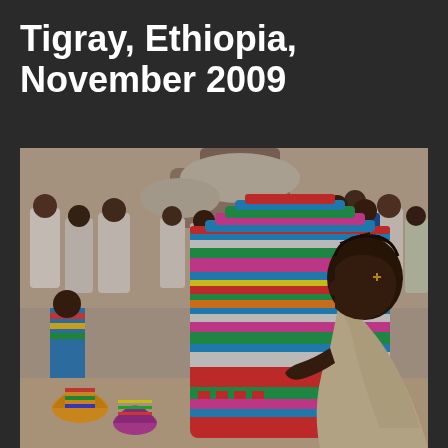Tigray, Ethiopia, November 2009
[Figure (photo): A woman in traditional white wrap clothing holds and closely examines a large, colorful woven Ethiopian basket (mesob). The basket is vividly decorated with geometric patterns in red, green, blue, pink, yellow, and white. In the background, a large crowd of people, many dressed in white traditional Ethiopian clothing, stand and sit outdoors under a tree during what appears to be a public gathering or festival in Tigray, Ethiopia.]